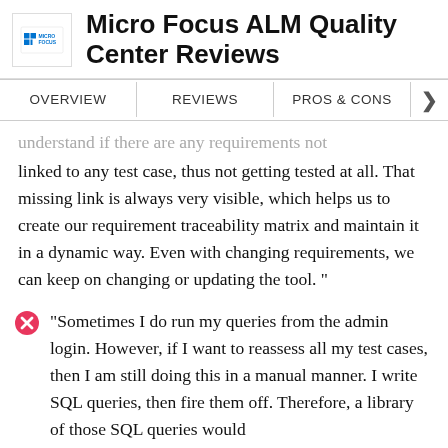Micro Focus ALM Quality Center Reviews
OVERVIEW   REVIEWS   PROS & CONS
understand if there are any requirements not linked to any test case, thus not getting tested at all. That missing link is always very visible, which helps us to create our requirement traceability matrix and maintain it in a dynamic way. Even with changing requirements, we can keep on changing or updating the tool."
"Sometimes I do run my queries from the admin login. However, if I want to reassess all my test cases, then I am still doing this in a manual manner. I write SQL queries, then fire them off. Therefore, a library of those SQL queries would